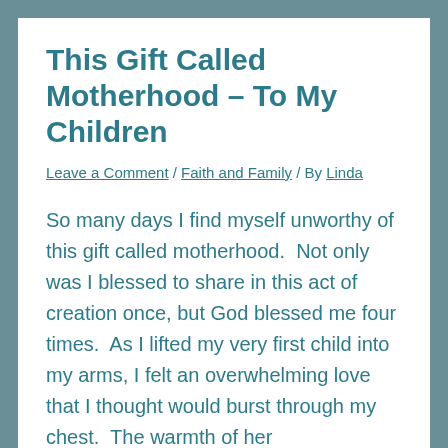This Gift Called Motherhood – To My Children
Leave a Comment / Faith and Family / By Linda
So many days I find myself unworthy of this gift called motherhood.  Not only was I blessed to share in this act of creation once, but God blessed me four times.  As I lifted my very first child into my arms, I felt an overwhelming love that I thought would burst through my chest.  The warmth of her